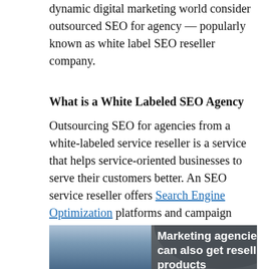dynamic digital marketing world consider outsourced SEO for agency — popularly known as white label SEO reseller company.
What is a White Labeled SEO Agency
Outsourcing SEO for agencies from a white-labeled service reseller is a service that helps service-oriented businesses to serve their customers better. An SEO service reseller offers Search Engine Optimization platforms and campaign services.
[Figure (photo): Photo of a man in a suit with overlay text reading 'Marketing agencies can also get reselling products']